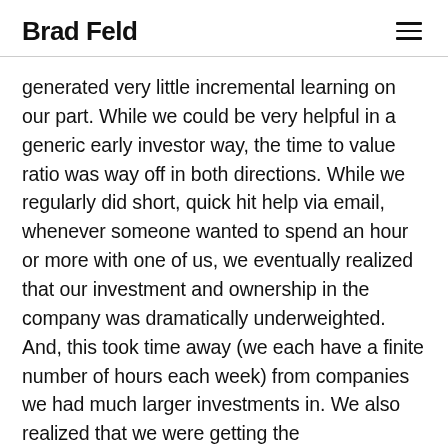Brad Feld
generated very little incremental learning on our part. While we could be very helpful in a generic early investor way, the time to value ratio was way off in both directions. While we regularly did short, quick hit help via email, whenever someone wanted to spend an hour or more with one of us, we eventually realized that our investment and ownership in the company was dramatically underweighted. And, this took time away (we each have a finite number of hours each week) from companies we had much larger investments in. We also realized that we were getting the experimentation value and learning at a greater rate from our deep engagement in Techstars.